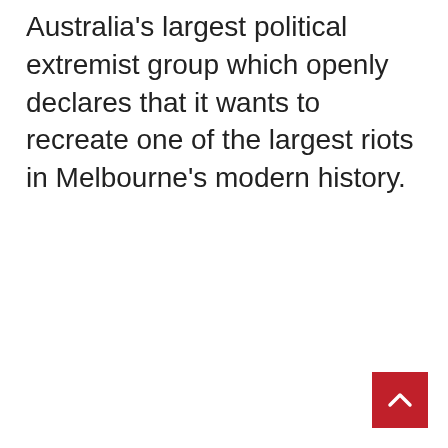Australia's largest political extremist group which openly declares that it wants to recreate one of the largest riots in Melbourne's modern history.
[Figure (other): Red scroll-to-top button with white upward chevron arrow, positioned in the bottom-right corner of the page.]